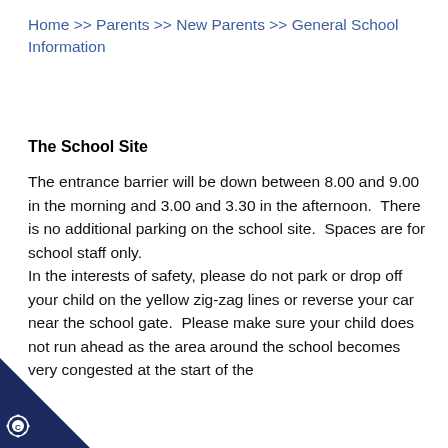Home >> Parents >> New Parents >> General School Information
The School Site
The entrance barrier will be down between 8.00 and 9.00 in the morning and 3.00 and 3.30 in the afternoon.  There is no additional parking on the school site.  Spaces are for school staff only. In the interests of safety, please do not park or drop off your child on the yellow zig-zag lines or reverse your car near the school gate.  Please make sure your child does not run ahead as the area around the school becomes very congested at the start of the
[Figure (logo): School logo with star/cog symbol and letter C on a dark navy triangle in the bottom left corner]